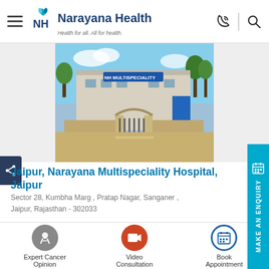Narayana Health — Health for all. All for health.
[Figure (photo): Exterior photo of Narayana Multispeciality Hospital, Jaipur — hospital building with entrance gate, road, trees, blue signboard]
Jaipur, Narayana Multispeciality Hospital, Jaipur
Sector 28, Kumbha Marg , Pratap Nagar, Sanganer , Jaipur, Rajasthan - 302033
HELPLINE
180 0309 0309

EMERGENCY
+91 998373 2222
Expert Cancer Opinion | Video Consultation | Book Appointment